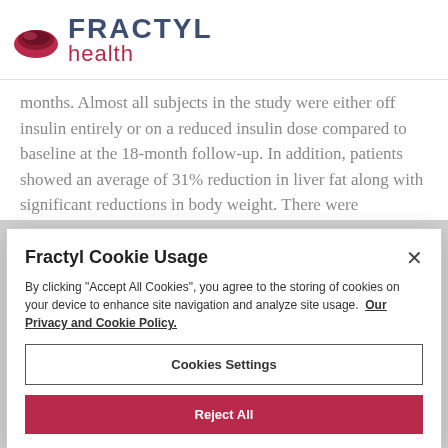FRACTYL health
months. Almost all subjects in the study were either off insulin entirely or on a reduced insulin dose compared to baseline at the 18-month follow-up. In addition, patients showed an average of 31% reduction in liver fat along with significant reductions in body weight. There were
Fractyl Cookie Usage
By clicking "Accept All Cookies", you agree to the storing of cookies on your device to enhance site navigation and analyze site usage. Our Privacy and Cookie Policy.
Cookies Settings
Reject All